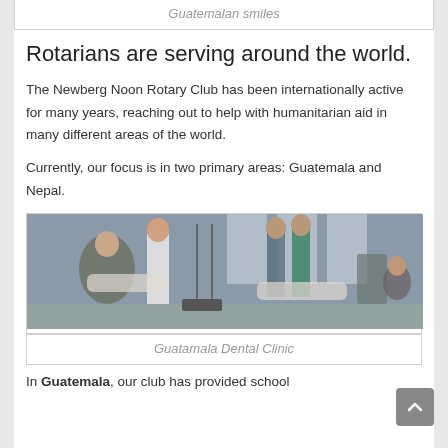Guatemalan smiles
Rotarians are serving around the world.
The Newberg Noon Rotary Club has been internationally active for many years, reaching out to help with humanitarian aid in many different areas of the world.
Currently, our focus is in two primary areas: Guatemala and Nepal.
[Figure (photo): People receiving dental care at a makeshift clinic, with dental chairs and medical staff in a large hall.]
Guatamala Dental Clinic
In Guatemala, our club has provided school